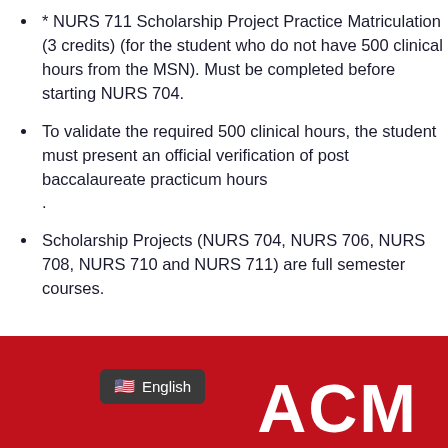* NURS 711 Scholarship Project Practice Matriculation (3 credits) (for the student who do not have 500 clinical hours from the MSN). Must be completed before starting NURS 704.
To validate the required 500 clinical hours, the student must present an official verification of post baccalaureate practicum hours .
Scholarship Projects (NURS 704, NURS 706, NURS 708, NURS 710 and NURS 711) are full semester courses.
[Figure (other): Red banner footer with a dark grey 'English' language selector button with US flag emoji on the left, and large white bold 'ACM' letters on the right.]